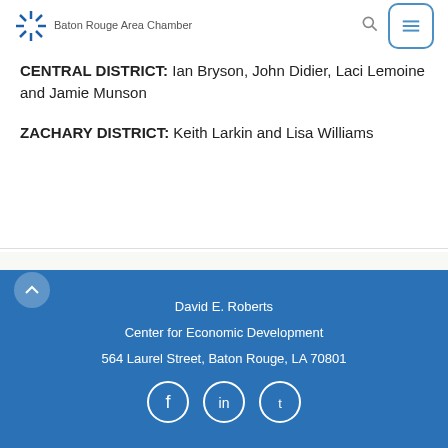Area participants included:
CENTRAL DISTRICT: Ian Bryson, John Didier, Laci Lemoine and Jamie Munson
ZACHARY DISTRICT: Keith Larkin and Lisa Williams
David E. Roberts
Center for Economic Development
564 Laurel Street, Baton Rouge, LA 70801